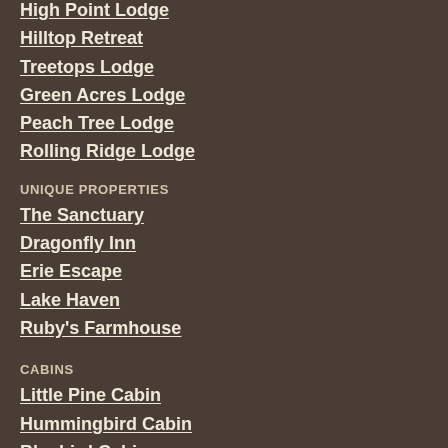High Point Lodge
Hilltop Retreat
Treetops Lodge
Green Acres Lodge
Peach Tree Lodge
Rolling Ridge Lodge
UNIQUE PROPERTIES
The Sanctuary
Dragonfly Inn
Erie Escape
Lake Haven
Ruby's Farmhouse
CABINS
Little Pine Cabin
Hummingbird Cabin
Bluebird Cabin
Mockingbird Cabin
Chickadee Cabin